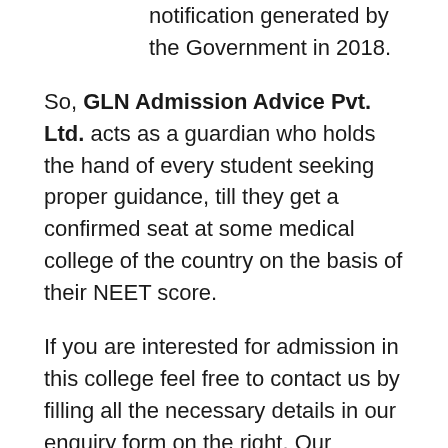notification generated by the Government in 2018.
So, GLN Admission Advice Pvt. Ltd. acts as a guardian who holds the hand of every student seeking proper guidance, till they get a confirmed seat at some medical college of the country on the basis of their NEET score.
If you are interested for admission in this college feel free to contact us by filling all the necessary details in our enquiry form on the right. Our counsellor will contact you within moments.
You can also directly click on the link